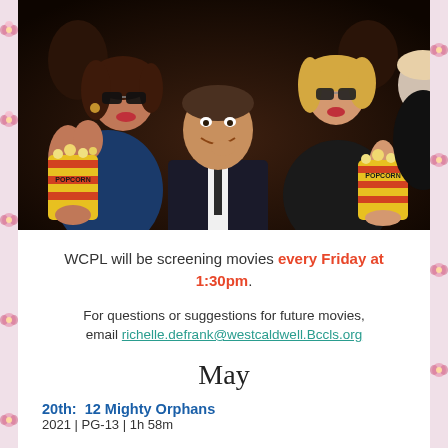[Figure (photo): People sitting in a movie theater audience, two women wearing sunglasses and holding popcorn buckets, with a man in between them smiling]
WCPL will be screening movies every Friday at 1:30pm.
For questions or suggestions for future movies, email richelle.defrank@westcaldwell.Bccls.org
May
20th:  12 Mighty Orphans
2021 | PG-13 | 1h 58m